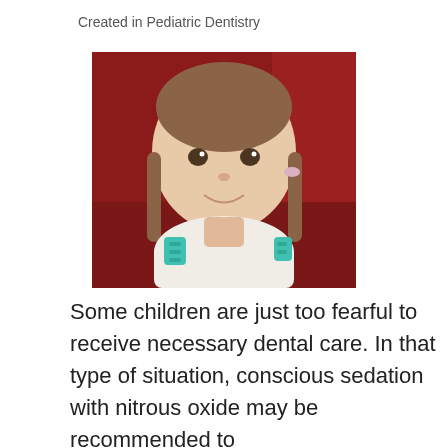Created in Pediatric Dentistry
[Figure (photo): A young girl with braided pigtails smiling at the camera, wearing a dental bib with teal dental bib clips, seated in a red dental chair.]
Some children are just too fearful to receive necessary dental care. In that type of situation, conscious sedation with nitrous oxide may be recommended to